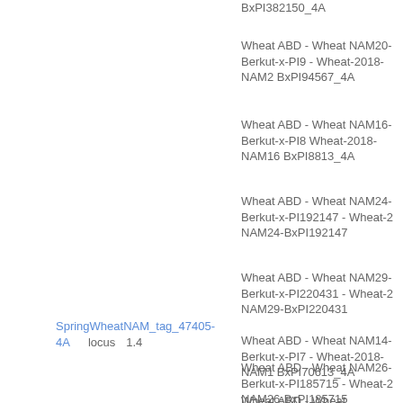BxPI382150_4A
Wheat ABD - Wheat NAM20-Berkut-x-PI9 - Wheat-2018-NAM2 BxPI94567_4A
Wheat ABD - Wheat NAM16-Berkut-x-PI8 Wheat-2018-NAM16 BxPI8813_4A
Wheat ABD - Wheat NAM24-Berkut-x-PI192147 - Wheat-2 NAM24-BxPI192147
Wheat ABD - Wheat NAM29-Berkut-x-PI220431 - Wheat-2 NAM29-BxPI220431
Wheat ABD - Wheat NAM14-Berkut-x-PI7 - Wheat-2018-NAM1 BxPI70613_4A
SpringWheatNAM_tag_47405-4A   locus   1.4
Wheat ABD - Wheat NAM26-Berkut-x-PI185715 - Wheat-2 NAM26-BxPI185715
Wheat ABD - Wheat